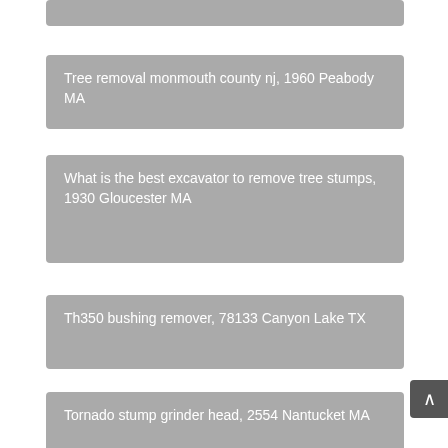Tree removal monmouth county nj, 1960 Peabody MA
What is the best excavator to remove tree stumps, 1930 Gloucester MA
Th350 bushing remover, 78133 Canyon Lake TX
Tornado stump grinder head, 2554 Nantucket MA
Camas tree stump removal, 1915 Beverly MA
Tree removal durham, 2370 Rockland MA